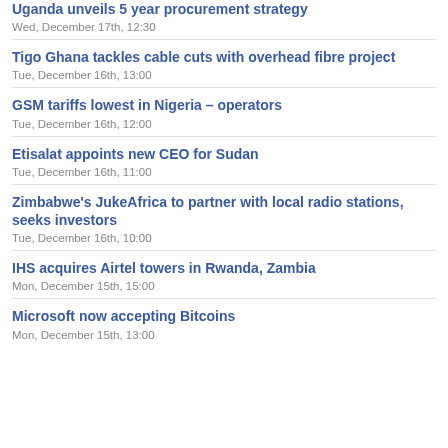Uganda unveils 5 year procurement strategy
Wed, December 17th, 12:30
Tigo Ghana tackles cable cuts with overhead fibre project
Tue, December 16th, 13:00
GSM tariffs lowest in Nigeria – operators
Tue, December 16th, 12:00
Etisalat appoints new CEO for Sudan
Tue, December 16th, 11:00
Zimbabwe's JukeAfrica to partner with local radio stations, seeks investors
Tue, December 16th, 10:00
IHS acquires Airtel towers in Rwanda, Zambia
Mon, December 15th, 15:00
Microsoft now accepting Bitcoins
Mon, December 15th, 13:00